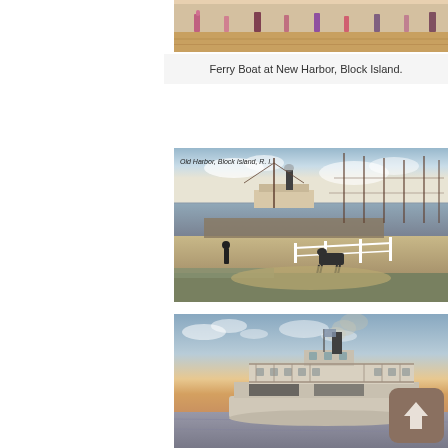[Figure (photo): Top portion of a historic postcard showing people walking on a boardwalk or pier, cropped at top.]
Ferry Boat at New Harbor, Block Island.
[Figure (photo): Historic colorized postcard of Old Harbor, Block Island, R.I. showing sailboat masts, a steamboat, dock area with horses and carriages, and marsh grasses in foreground.]
[Figure (photo): Historic colorized postcard of a large side-wheel or double-deck ferry steamboat on water with smoke coming from smokestack, at sunset. An upload/share icon overlay appears in the bottom right corner.]